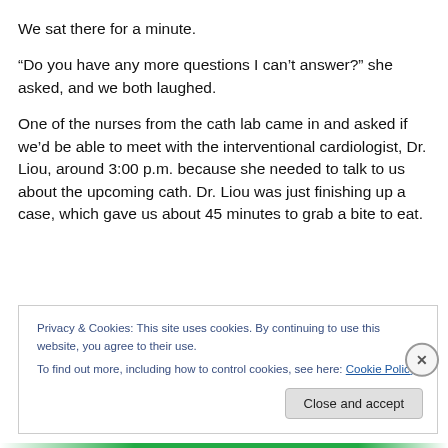We sat there for a minute.
“Do you have any more questions I can’t answer?” she asked, and we both laughed.
One of the nurses from the cath lab came in and asked if we’d be able to meet with the interventional cardiologist, Dr. Liou, around 3:00 p.m. because she needed to talk to us about the upcoming cath. Dr. Liou was just finishing up a case, which gave us about 45 minutes to grab a bite to eat.
Privacy & Cookies: This site uses cookies. By continuing to use this website, you agree to their use.
To find out more, including how to control cookies, see here: Cookie Policy
Close and accept